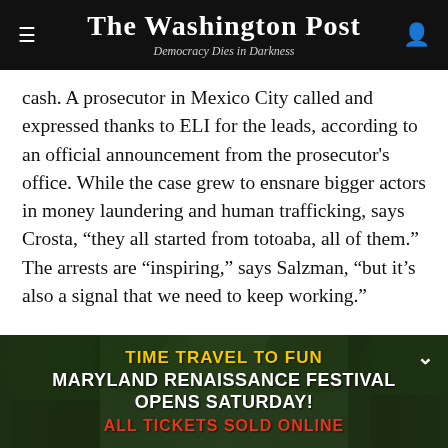The Washington Post — Democracy Dies in Darkness
cash. A prosecutor in Mexico City called and expressed thanks to ELI for the leads, according to an official announcement from the prosecutor's office. While the case grew to ensnare bigger actors in money laundering and human trafficking, says Crosta, “they all started from totoaba, all of them.” The arrests are “inspiring,” says Salzman, “but it’s also a signal that we need to keep working.”
[Figure (photo): Advertisement banner for Maryland Renaissance Festival with forested background and festival attendees in period costume. Text reads: TIME TRAVEL TO FUN / MARYLAND RENAISSANCE FESTIVAL OPENS SATURDAY! / ALL TICKETS SOLD ONLINE]